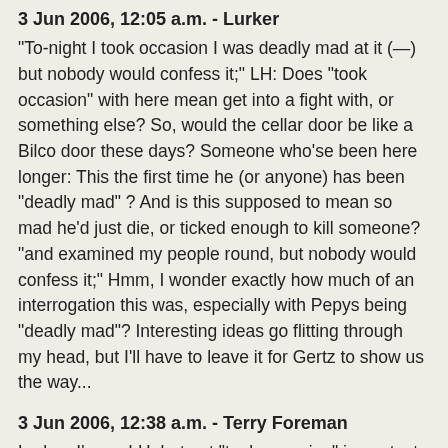3 Jun 2006, 12:05 a.m. - Lurker
"To-night I took occasion I was deadly mad at it (—) but nobody would confess it;" LH: Does "took occasion" with here mean get into a fight with, or something else? So, would the cellar door be like a Bilco door these days? Someone who'se been here longer: This the first time he (or anyone) has been "deadly mad" ? And is this supposed to mean so mad he'd just die, or ticked enough to kill someone? "and examined my people round, but nobody would confess it;" Hmm, I wonder exactly how much of an interrogation this was, especially with Pepys being "deadly mad"? Interesting ideas go flitting through my head, but I'll have to leave it for Gertz to show us the way...
3 Jun 2006, 12:38 a.m. - Terry Foreman
Lurker, I'm no LH, but put "took occasion" in context: "To-night I took occasion with the vintner's man, who came by my direction to taste again my tierce of claret, to go down to the cellar with him to consult about the drawing of it" "I took occasion" seems to mean "I took advantage of the